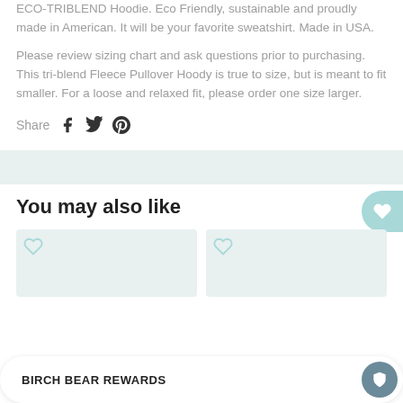ECO-TRIBLEND Hoodie. Eco Friendly, sustainable and proudly made in American. It will be your favorite sweatshirt. Made in USA.
Please review sizing chart and ask questions prior to purchasing. This tri-blend Fleece Pullover Hoody is true to size, but is meant to fit smaller. For a loose and relaxed fit, please order one size larger.
Share
[Figure (infographic): Social share icons: Facebook, Twitter, Pinterest]
[Figure (infographic): Wishlist heart button (teal circle, right edge)]
You may also like
[Figure (infographic): Two product card placeholders with heart icons]
[Figure (infographic): BIRCH BEAR REWARDS loyalty button bar]